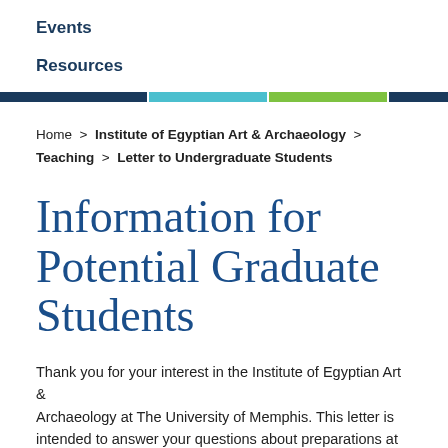Events
Resources
Home > Institute of Egyptian Art & Archaeology > Teaching > Letter to Undergraduate Students
Information for Potential Graduate Students
Thank you for your interest in the Institute of Egyptian Art & Archaeology at The University of Memphis. This letter is intended to answer your questions about preparations at